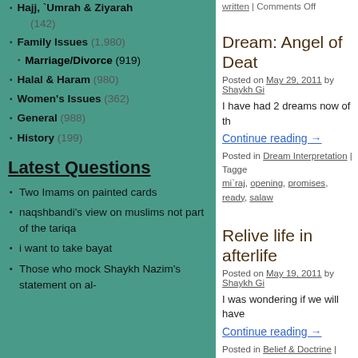Hajj, `Umrah & Ziyarah (142)
Family Issues (1,980)
Marriage/Divorce (919)
Halal & Haram (980)
Women's Issues (362)
General (988)
History (199)
Latest Questions
Two Imams on painted cards
naqshbandi's view on muslims not part of the tariqa
i want to take bayat
Those who mock Shaykh Nazim's statement on al-
written | Comments Off
Dream: Angel of Deat
Posted on May 29, 2011 by Shaykh Gi
I have had 2 dreams now of th
Continue reading →
Posted in Dream Interpretation | Tagged mi`raj, opening, promises, ready, salaw
Relive life in afterlife
Posted on May 19, 2011 by Shaykh Gi
I was wondering if we will have
Continue reading →
Posted in Belief & Doctrine | Tagged ac life, lifespan, lives, next life, paradise,